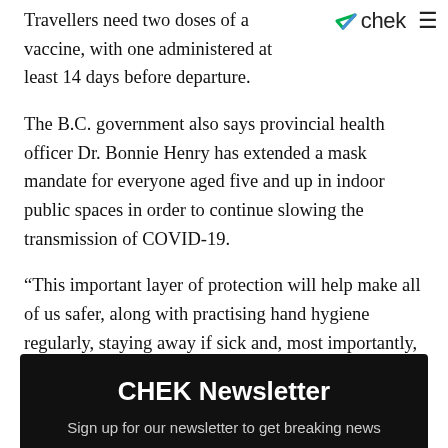CHEK
Travellers need two doses of a vaccine, with one administered at least 14 days before departure.
The B.C. government also says provincial health officer Dr. Bonnie Henry has extended a mask mandate for everyone aged five and up in indoor public spaces in order to continue slowing the transmission of COVID-19.
“This important layer of protection will help make all of us safer, along with practising hand hygiene regularly, staying away if sick and, most importantly, getting fully vaccinated,” Henry says in a written statement.
The mask mandate was due to expire on Sunday.
CHEK Newsletter
Sign up for our newsletter to get breaking news